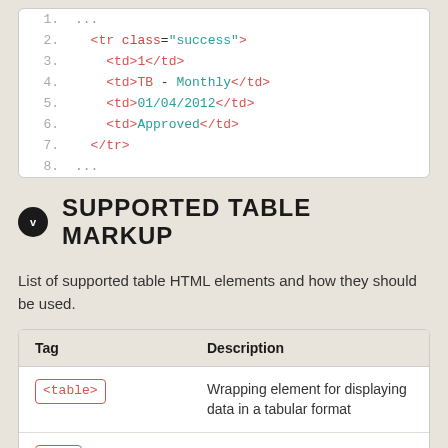[Figure (screenshot): Code block showing HTML table row markup with line numbers 1-8, featuring <tr class="success">, <td> elements for 1, TB - Monthly, 01/04/2012, Approved, and </tr>]
V SUPPORTED TABLE MARKUP
List of supported table HTML elements and how they should be used.
| Tag | Description |
| --- | --- |
| <table> | Wrapping element for displaying data in a tabular format |
| <tr> | Container element for table rows... |